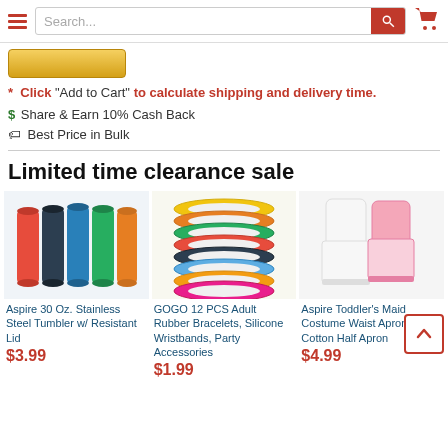Search bar and navigation header
[Figure (screenshot): Gold 'Add to Cart' button]
* Click "Add to Cart" to calculate shipping and delivery time.
$ Share & Earn 10% Cash Back
Best Price in Bulk
Limited time clearance sale
[Figure (photo): Aspire 30 Oz. Stainless Steel Tumbler w/ Resistant Lid product image showing multiple colorful tumblers]
Aspire 30 Oz. Stainless Steel Tumbler w/ Resistant Lid
$3.99
[Figure (photo): GOGO 12 PCS Adult Rubber Bracelets Silicone Wristbands Party Accessories product image showing colorful wristbands]
GOGO 12 PCS Adult Rubber Bracelets, Silicone Wristbands, Party Accessories
$1.99
[Figure (photo): Aspire Toddler's Maid Costume Waist Apron Lace Cotton Half Apron product image showing aprons]
Aspire Toddler's Maid Costume Waist Apron,Lace Cotton Half Apron
$4.99